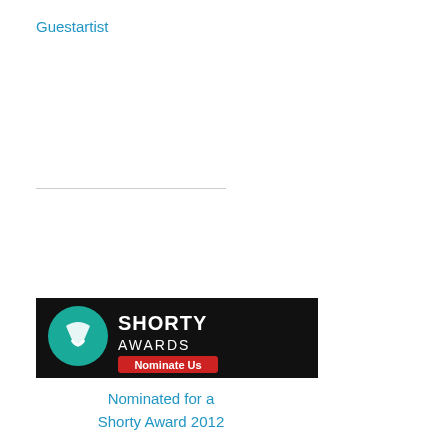Guestartist
[Figure (logo): Shorty Awards badge with teal whale/Y logo on black background and red 'Nominate Us' button]
Nominated for a Shorty Award 2012
recent posts
When I Move
Roots
Not Knowing
Have You Enjoyed Your Life?
The Bardo
New Year's Day With Shiki